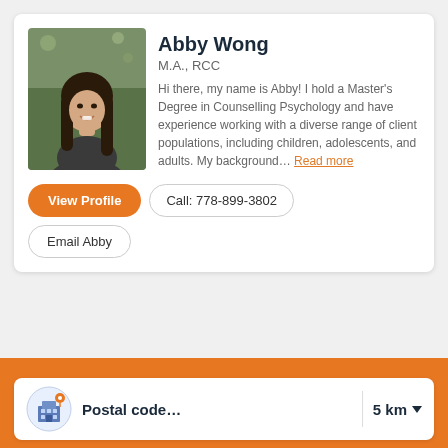[Figure (photo): Portrait photo of Abby Wong, a young woman with long dark hair wearing a dark top, photographed outdoors.]
Abby Wong
M.A., RCC
Hi there, my name is Abby! I hold a Master's Degree in Counselling Psychology and have experience working with a diverse range of client populations, including children, adolescents, and adults. My background... Read more
View Profile
Call: 778-899-3802
Email Abby
[Figure (illustration): Circular icon/illustration of a city building with a location pin, representing postal code search.]
Postal code...
5 km ▼